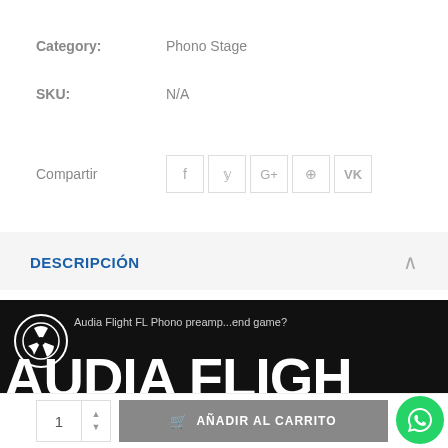Category: Phono Stage
SKU: N/A
Compartir
DESCRIPCIÓN
[Figure (screenshot): Audia Flight FL Phono preamp...end game? banner with logo and large AUDIA FLIGH text on black background]
1  AÑADIR AL CARRITO